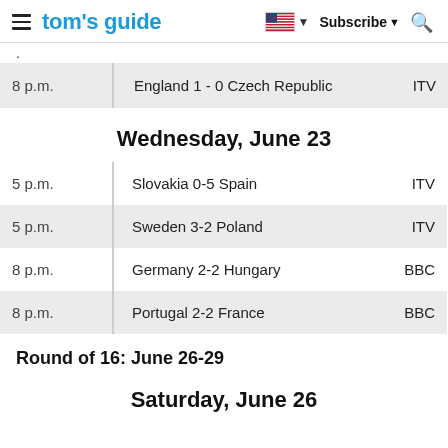tom's guide | Subscribe
| Time | Match | Channel |
| --- | --- | --- |
| 8 p.m. | England 1 - 0 Czech Republic | ITV |
Wednesday, June 23
| Time | Match | Channel |
| --- | --- | --- |
| 5 p.m. | Slovakia 0-5 Spain | ITV |
| 5 p.m. | Sweden 3-2 Poland | ITV |
| 8 p.m. | Germany 2-2 Hungary | BBC |
| 8 p.m. | Portugal 2-2 France | BBC |
Round of 16: June 26-29
Saturday, June 26